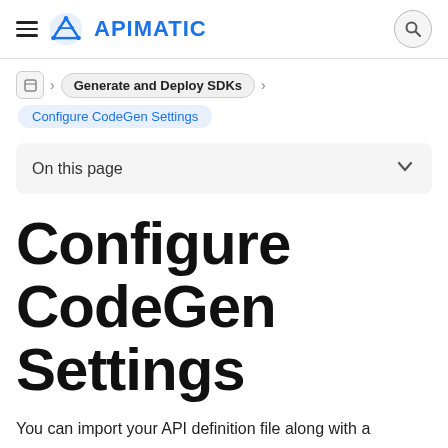APIMATIC
Generate and Deploy SDKs
Configure CodeGen Settings
On this page
Configure CodeGen Settings
You can import your API definition file along with a